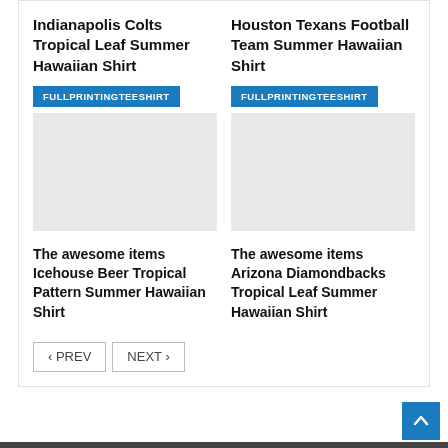Indianapolis Colts Tropical Leaf Summer Hawaiian Shirt
[Figure (other): Product image placeholder with FULLPRINTINGTEESHIRT badge]
Houston Texans Football Team Summer Hawaiian Shirt
[Figure (other): Product image placeholder with FULLPRINTINGTEESHIRT badge]
The awesome items Icehouse Beer Tropical Pattern Summer Hawaiian Shirt
The awesome items Arizona Diamondbacks Tropical Leaf Summer Hawaiian Shirt
< PREV
NEXT >